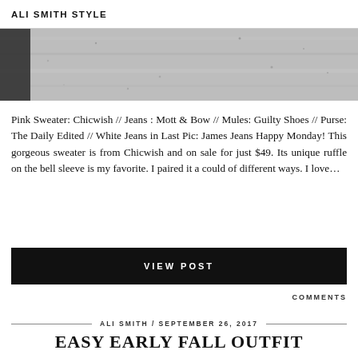ALI SMITH STYLE
[Figure (photo): Close-up photo of a light gray textured fabric or concrete surface]
Pink Sweater: Chicwish // Jeans : Mott & Bow // Mules: Guilty Shoes // Purse: The Daily Edited // White Jeans in Last Pic: James Jeans Happy Monday! This gorgeous sweater is from Chicwish and on sale for just $49. Its unique ruffle on the bell sleeve is my favorite. I paired it a could of different ways. I love…
VIEW POST
COMMENTS
ALI SMITH / SEPTEMBER 26, 2017
EASY EARLY FALL OUTFIT